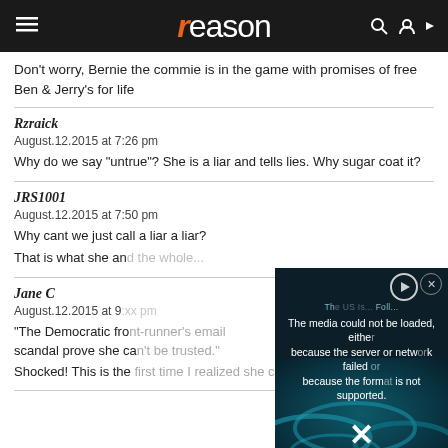reason
Don't worry, Bernie the commie is in the game with promises of free Ben & Jerry's for life
Rzraick
August.12.2015 at 7:26 pm

Why do we say "untrue"? She is a liar and tells lies. Why sugar coat it?
JRS1001
August.12.2015 at 7:50 pm

Why cant we just call a liar a liar?

That is what she and...
[Figure (screenshot): Video player error overlay on dark background with DNA imagery. Text: 'The media could not be loaded, either because the server or network failed or because the format is not supported.' with X close button and play button.]
Jane C
August.12.2015 at 9...

"The Democratic fro... scandal prove she ca...

Shocked! This is the first time I realized she can't be trusted." *eyes roll